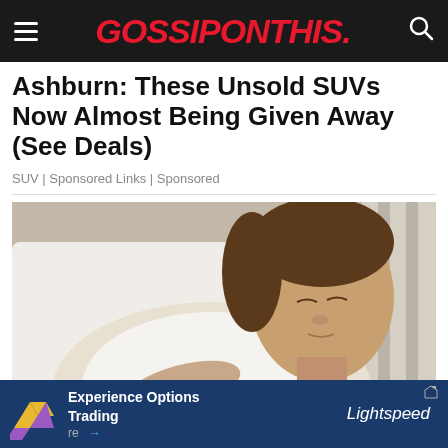GOSSIPONTHIS.
Ashburn: These Unsold SUVs Now Almost Being Given Away (See Deals)
SUV | Sponsored Links | Sponsored
[Figure (photo): A woman lying on a bed in a white t-shirt and khaki shorts, resting against white pillows and a striped pillow, with her eyes closed and hands on her stomach.]
Experience Options Trading  Lightstep